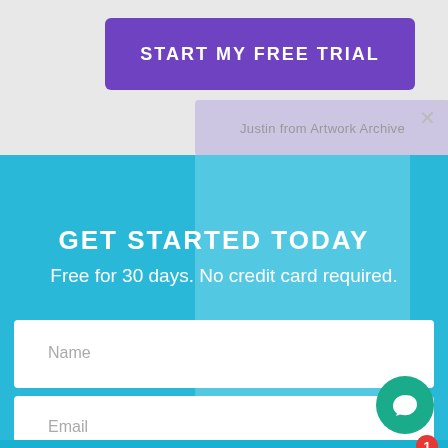[Figure (screenshot): Purple CTA button labeled START MY FREE TRIAL on a light gray background]
Justin from Artwork Archive
GET STARTED TODAY
Free for 30 days. No credit card required.
Name
Email